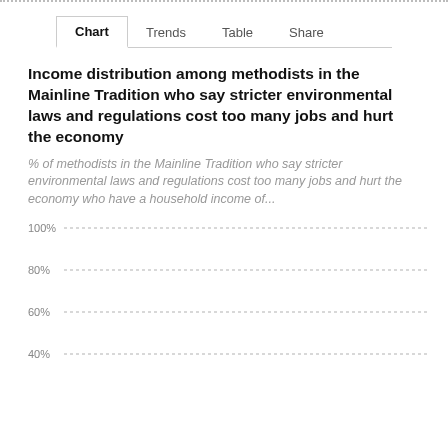Chart | Trends | Table | Share
Income distribution among methodists in the Mainline Tradition who say stricter environmental laws and regulations cost too many jobs and hurt the economy
% of methodists in the Mainline Tradition who say stricter environmental laws and regulations cost too many jobs and hurt the economy who have a household income of...
[Figure (bar-chart): Partially visible bar chart with y-axis showing 100%, 80%, 60%, 40% gridlines. Chart content cut off at bottom of page.]